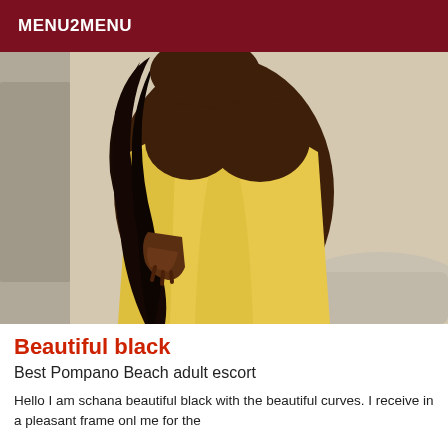MENU2MENU
[Figure (photo): A woman wearing a yellow/gold form-fitting dress, shown from neck to upper thigh, with long dark hair, posing with one hand on hip.]
Beautiful black
Best Pompano Beach adult escort
Hello I am schana beautiful black with the beautiful curves. I receive in a pleasant frame onl me for the